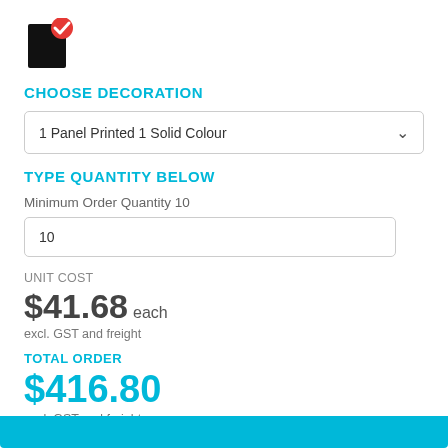[Figure (logo): Black square with a red circle checkmark badge in top-right corner]
CHOOSE DECORATION
1 Panel Printed 1 Solid Colour
TYPE QUANTITY BELOW
Minimum Order Quantity 10
10
UNIT COST
$41.68 each
excl. GST and freight
TOTAL ORDER
$416.80
excl. GST and freight